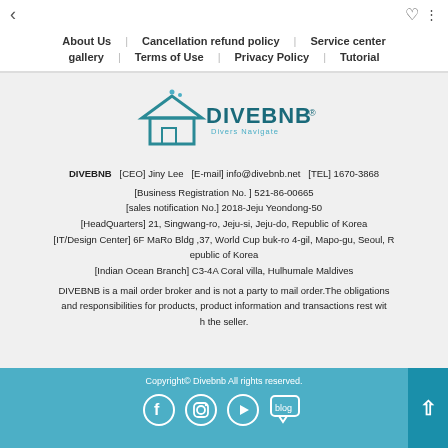About Us | Cancellation refund policy | Service center | gallery | Terms of Use | Privacy Policy | Tutorial
[Figure (logo): DIVEBNB logo with house/dive icon and tagline 'Divers Navigate']
DIVEBNB [CEO] Jiny Lee [E-mail] info@divebnb.net [TEL] 1670-3868 [Business Registration No. ] 521-86-00665 [sales notification No.] 2018-Jeju Yeondong-50 [HeadQuarters] 21, Singwang-ro, Jeju-si, Jeju-do, Republic of Korea [IT/Design Center] 6F MaRo Bldg ,37, World Cup buk-ro 4-gil, Mapo-gu, Seoul, Republic of Korea [Indian Ocean Branch] C3-4A Coral villa, Hulhumale Maldives DIVEBNB is a mail order broker and is not a party to mail order.The obligations and responsibilities for products, product information and transactions rest with the seller.
Copyright© Divebnb All rights reserved.